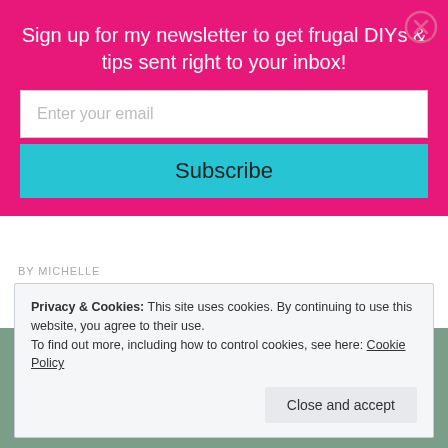Sign up for my newsletter to get frugal DIYs & tips sent right to your inbox!
Enter your email
Subscribe
BY MICHELLE
Come along with us as we renovate our 1946 home. This week's home renovation update is the dining room windows.
Privacy & Cookies: This site uses cookies. By continuing to use this website, you agree to their use. To find out more, including how to control cookies, see here: Cookie Policy
Close and accept
[Figure (photo): Partial view of a book or sign with the text HOME visible]